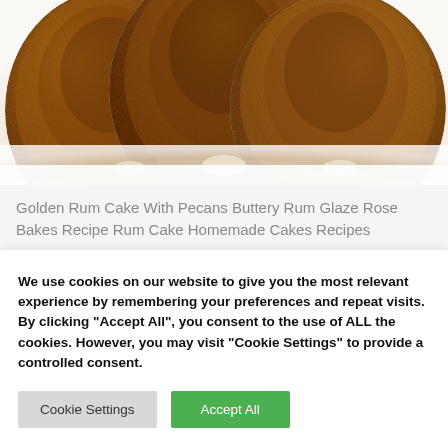[Figure (photo): Close-up photo of golden rum bundt cakes with buttery glaze, showing caramelized brown tops, on a white surface. Watermark reads RoseBakes.com.]
Golden Rum Cake With Pecans Buttery Rum Glaze Rose Bakes Recipe Rum Cake Homemade Cakes Recipes
We use cookies on our website to give you the most relevant experience by remembering your preferences and repeat visits. By clicking "Accept All", you consent to the use of ALL the cookies. However, you may visit "Cookie Settings" to provide a controlled consent.